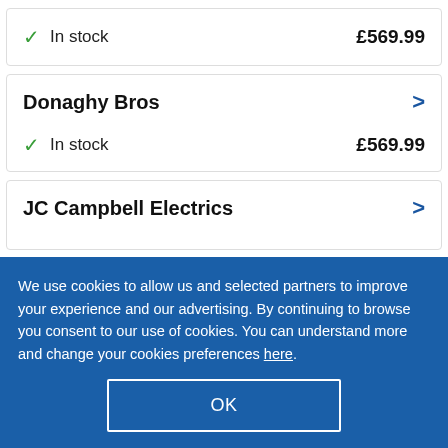In stock  £569.99
Donaghy Bros
In stock  £569.99
JC Campbell Electrics
We use cookies to allow us and selected partners to improve your experience and our advertising. By continuing to browse you consent to our use of cookies. You can understand more and change your cookies preferences here.
OK